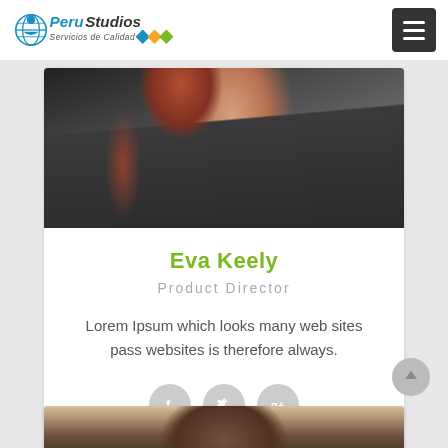[Figure (logo): PeruStudios logo with tagline 'Servicios de Calidad' and colorful diamond shapes]
[Figure (photo): Cropped photo of a woman with auburn hair wearing a dark grey blazer, showing neck and shoulders, top portion cut off]
Eva Keely
Product Director
Lorem Ipsum which looks many web sites pass websites is therefore always.
[Figure (illustration): Three circular social media icons: Facebook (f), Twitter (bird), Google+ (g+)]
[Figure (photo): Top portion of a second person's photo showing dark hair, partially visible at the bottom of the page]